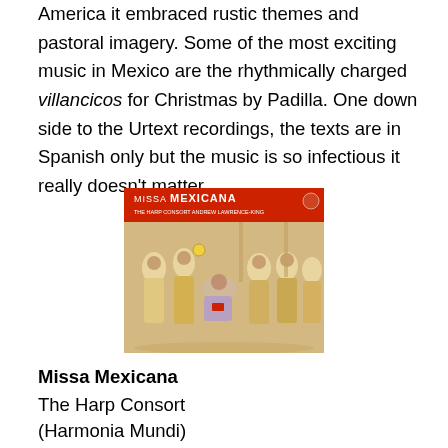America it embraced rustic themes and pastoral imagery. Some of the most exciting music in Mexico are the rhythmically charged villancicos for Christmas by Padilla. One down side to the Urtext recordings, the texts are in Spanish only but the music is so infectious it really doesn't matter.
[Figure (photo): Album cover for Missa Mexicana by The Harp Consort on Harmonia Mundi, showing a red banner title over a medieval-style illustration of robed figures in a religious ceremony.]
Missa Mexicana
The Harp Consort
(Harmonia Mundi)
While I'm on the subject of Padilla and Mexico, another